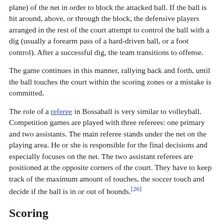plane) of the net in order to block the attacked ball. If the ball is hit around, above, or through the block, the defensive players arranged in the rest of the court attempt to control the ball with a dig (usually a forearm pass of a hard-driven ball, or a foot control). After a successful dig, the team transitions to offense.
The game continues in this manner, rallying back and forth, until the ball touches the court within the scoring zones or a mistake is committed.
The role of a referee in Bossaball is very similar to volleyball. Competition games are played with three referees: one primary and two assistants. The main referee stands under the net on the playing area. He or she is responsible for the final decisions and especially focuses on the net. The two assistant referees are positioned at the opposite corners of the court. They have to keep track of the maximum amount of touches, the soccer touch and decide if the ball is in or out of bounds.[26]
Scoring
Points can be made either by scoring or an opponent's error. When the ball touches the floor (the bottom of the trampoline or the inflatables) within the court boundaries (the outer safety zone is not), the team on the opposite side of the net is awarded a point...